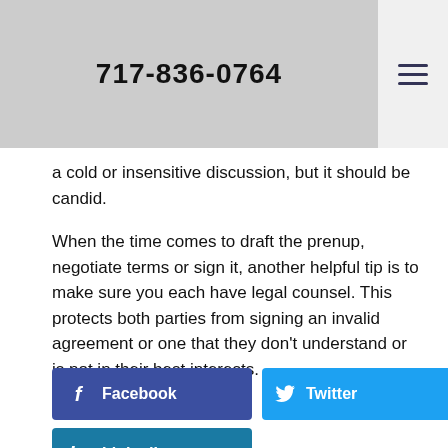717-836-0764
a cold or insensitive discussion, but it should be candid.
When the time comes to draft the prenup, negotiate terms or sign it, another helpful tip is to make sure you each have legal counsel. This protects both parties from signing an invalid agreement or one that they don't understand or is not in their best interests.
[Figure (infographic): Social share buttons: Facebook (dark blue), Twitter (light blue), LinkedIn (teal blue)]